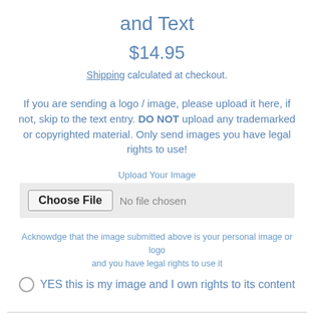and Text
$14.95
Shipping calculated at checkout.
If you are sending a logo / image, please upload it here, if not, skip to the text entry. DO NOT upload any trademarked or copyrighted material. Only send images you have legal rights to use!
Upload Your Image
[Figure (screenshot): File input UI: Choose File button with 'No file chosen' text on gray background]
Acknowdge that the image submitted above is your personal image or logo and you have legal rights to use it
YES this is my image and I own rights to its content